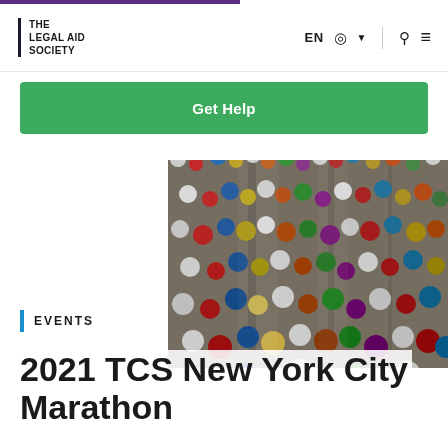THE LEGAL AID SOCIETY | EN (globe) (menu)
Get Help
[Figure (photo): Aerial view of a large crowd of marathon runners on a road, wearing colorful running gear, during the 2021 TCS New York City Marathon.]
EVENTS
2021 TCS New York City Marathon